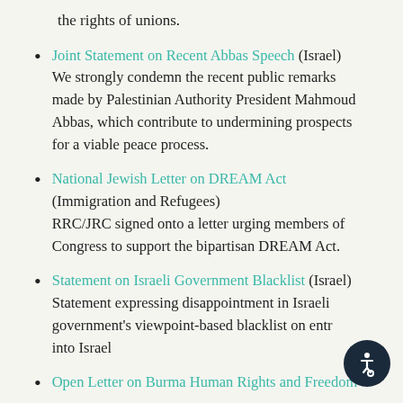the rights of unions.
Joint Statement on Recent Abbas Speech (Israel) We strongly condemn the recent public remarks made by Palestinian Authority President Mahmoud Abbas, which contribute to undermining prospects for a viable peace process.
National Jewish Letter on DREAM Act (Immigration and Refugees) RRC/JRC signed onto a letter urging members of Congress to support the bipartisan DREAM Act.
Statement on Israeli Government Blacklist (Israel) Statement expressing disappointment in Israeli government's viewpoint-based blacklist on entry into Israel
Open Letter on Burma Human Rights and Freedom